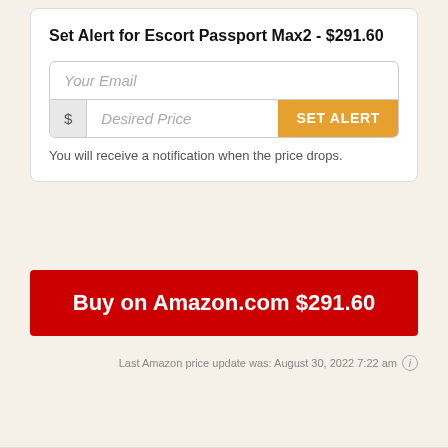Set Alert for Escort Passport Max2 - $291.60
[Figure (screenshot): Email input field with placeholder 'Your Email']
[Figure (screenshot): Price input row with dollar sign prefix, 'Desired Price' placeholder, and orange 'SET ALERT' button]
You will receive a notification when the price drops.
Buy on Amazon.com $291.60
Last Amazon price update was: August 30, 2022 7:22 am